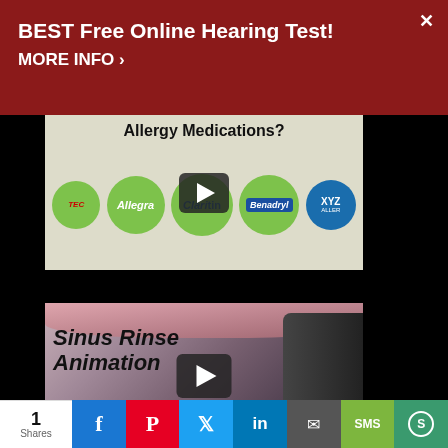[Figure (screenshot): Red advertisement banner for 'BEST Free Online Hearing Test!' with MORE INFO link and close button]
[Figure (screenshot): Video thumbnail showing allergy medications (Allegra, Claritin, Benadryl, XYZ Allergy) with play button overlay and title 'Allergy Medications?']
[Figure (screenshot): Video thumbnail showing 'Sinus Rinse Animation' text over a close-up photo with play button overlay]
[Figure (screenshot): Social sharing bar with share count (1 Shares) and buttons for Facebook, Pinterest, Twitter, LinkedIn, Email, SMS, and more]